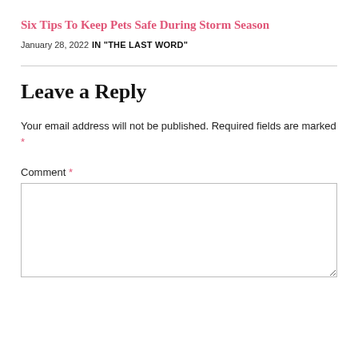Six Tips To Keep Pets Safe During Storm Season
January 28, 2022
IN "THE LAST WORD"
Leave a Reply
Your email address will not be published. Required fields are marked *
Comment *